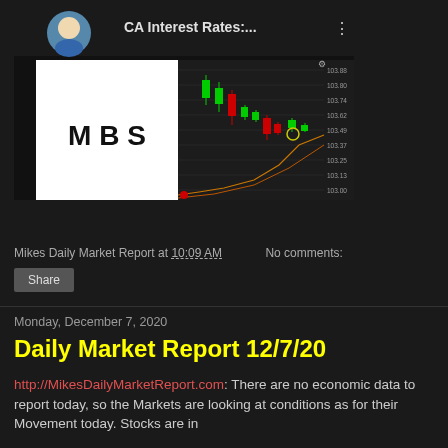[Figure (screenshot): YouTube video thumbnail showing 'CA Interest Rates:...' with MBS logo, a man's photo, YouTube play button, and a candlestick chart with price levels on the right axis (102.76–103.88 range), dark background]
Mikes Daily Market Report at 10:09 AM    No comments:
Share
Monday, December 7, 2020
Daily Market Report 12/7/20
http://MikesDailyMarketReport.com: There are no economic data to report today, so the Markets are looking at conditions as for their Movement today. Stocks are in